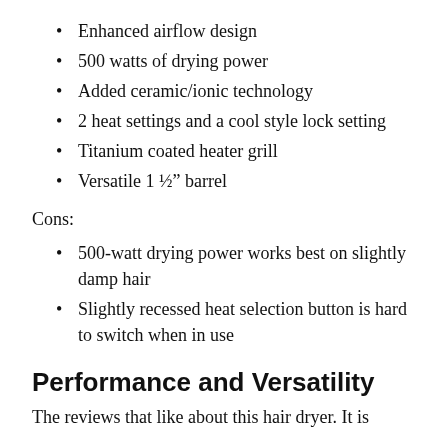Enhanced airflow design
500 watts of drying power
Added ceramic/ionic technology
2 heat settings and a cool style lock setting
Titanium coated heater grill
Versatile 1 ½" barrel
Cons:
500-watt drying power works best on slightly damp hair
Slightly recessed heat selection button is hard to switch when in use
Performance and Versatility
The reviews that like about this hair dryer. It is